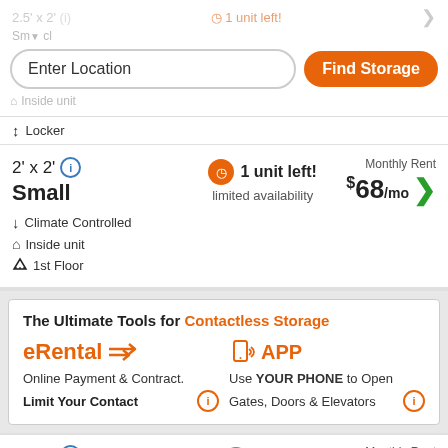2.5' x 2' (i) 1 unit left! [faded top bar]
Enter Location
Find Storage
Inside unit [faded]
Locker
2' x 2' (i)
Small
1 unit left!
limited availability
Monthly Rent $68/mo
Climate Controlled
Inside unit
1st Floor
The Ultimate Tools for Contactless Storage
eRental
Online Payment & Contract.
Limit Your Contact
APP
Use YOUR PHONE to Open
Gates, Doors & Elevators
5' x 5' (i)
Small
Hurry!
limited availability
Monthly Rent $73/mo